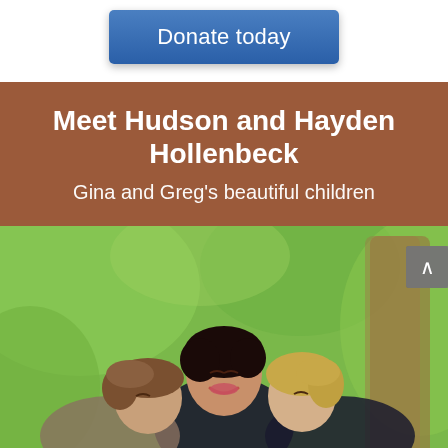[Figure (other): Blue 'Donate today' button on white background]
Meet Hudson and Hayden Hollenbeck
Gina and Greg's beautiful children
[Figure (photo): A woman smiling with eyes closed while two boys kiss her on each cheek outdoors with green bokeh background]